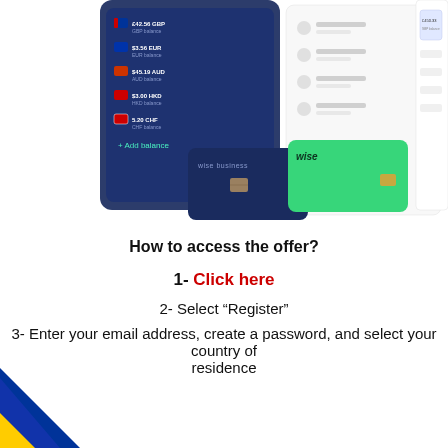[Figure (screenshot): Wise business app mockup showing phone screen with currency balances, two debit cards (dark navy Wise Business card and green Wise card), and a dashboard interface on the right side.]
How to access the offer?
1- Click here
2- Select “Register”
3- Enter your email address, create a password, and select your country of residence